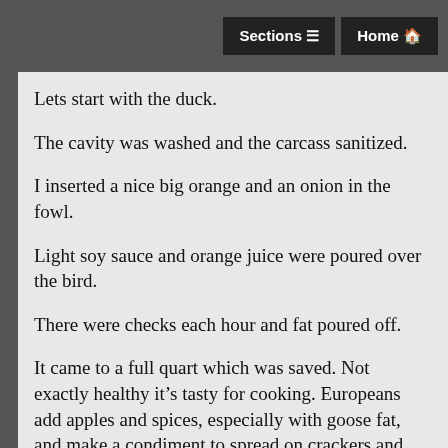Sections  Home
Lets start with the duck.
The cavity was washed and the carcass sanitized.
I inserted a nice big orange and an onion in the fowl.
Light soy sauce and orange juice were poured over the bird.
There were checks each hour and fat poured off.
It came to a full quart which was saved. Not exactly healthy it’s tasty for cooking. Europeans add apples and spices, especially with goose fat, and make a condiment to spread on crackers and toast. My cardiologist,